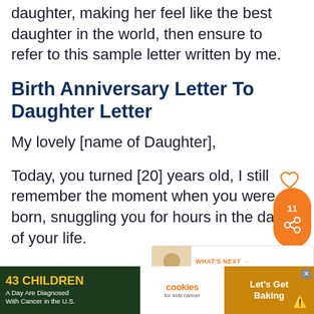daughter, making her feel like the best daughter in the world, then ensure to refer to this sample letter written by me.
Birth Anniversary Letter To Daughter Letter
My lovely [name of Daughter],
Today, you turned [20] years old, I still remember the moment when you were born, snuggling you for hours in the days of your life.
[Figure (screenshot): Social share button with count 11 and orange share icon]
[Figure (screenshot): What's Next widget showing Daughter-In-Law... article thumbnail]
[Figure (infographic): Advertisement banner: 43 Children A Day Are Diagnosed With Cancer in the U.S. — cookies for kids cancer — Let's Get Baking]